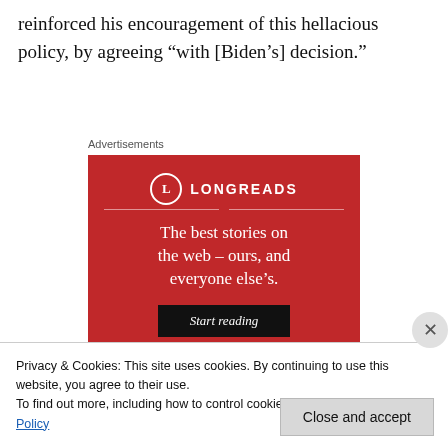reinforced his encouragement of this hellacious policy, by agreeing “with [Biden’s] decision.”
Advertisements
[Figure (other): Longreads advertisement banner on red background. Logo circle with 'L', brand name 'LONGREADS', tagline 'The best stories on the web – ours, and everyone else’s.', with a 'Start reading' button.]
Privacy & Cookies: This site uses cookies. By continuing to use this website, you agree to their use.
To find out more, including how to control cookies, see here: Cookie Policy